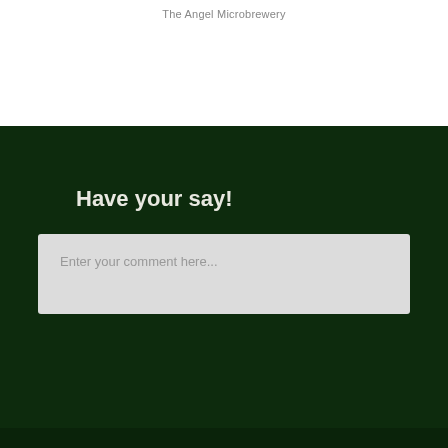The Angel Microbrewery
Have your say!
Enter your comment here...